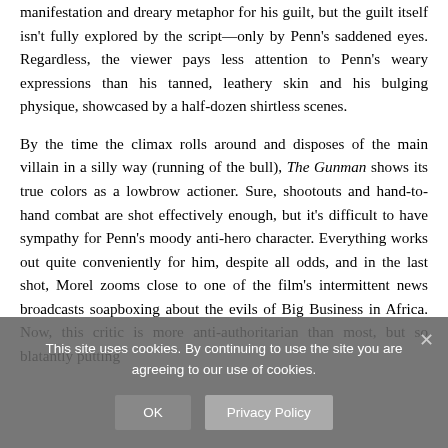manifestation and dreary metaphor for his guilt, but the guilt itself isn't fully explored by the script—only by Penn's saddened eyes. Regardless, the viewer pays less attention to Penn's weary expressions than his tanned, leathery skin and his bulging physique, showcased by a half-dozen shirtless scenes.
By the time the climax rolls around and disposes of the main villain in a silly way (running of the bull), The Gunman shows its true colors as a lowbrow actioner. Sure, shootouts and hand-to-hand combat are shot effectively enough, but it's difficult to have sympathy for Penn's moody anti-hero character. Everything works out quite conveniently for him, despite all odds, and in the last shot, Morel zooms close to one of the film's intermittent news broadcasts soapboxing about the evils of Big Business in Africa. Now, this critic is more anti-authoritarian than most, but so blatantly putting
This site uses cookies. By continuing to use the site you are agreeing to our use of cookies.
OK
Privacy Policy